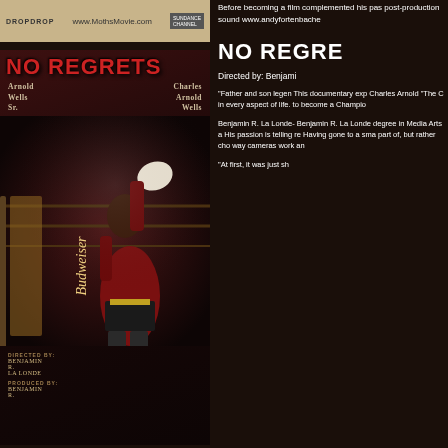[Figure (screenshot): Top banner with DROPDROP text, www.MothsMovie.com URL, and a small logo box on a tan/beige background]
[Figure (photo): Movie poster for 'NO REGRETS' featuring a boxer in a red robe in a boxing ring with Budweiser signage. Credits: Directed by Benjamin R. La Londe, Produced by Benjamin R. Actors: Arnold Wells Sr. and Charles Arnold Wells.]
Before becoming a film complemented his pas post-production sound www.andyfortenbache
NO REGRE
Directed by: Benjami
"Father and son legen This documentary exp Charles Arnold "The C in every aspect of life. to become a Champio
Benjamin R. La Londe- Benjamin R. La Londe degree in Media Arts a His passion is telling re Having gone to a sma part of, but rather cho way cameras work an
"At first, it was just sh